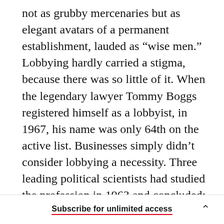not as grubby mercenaries but as elegant avatars of a permanent establishment, lauded as “wise men.” Lobbying hardly carried a stigma, because there was so little of it. When the legendary lawyer Tommy Boggs registered himself as a lobbyist, in 1967, his name was only 64th on the active list. Businesses simply didn’t consider lobbying a necessity. Three leading political scientists had studied the profession in 1963 and concluded: “When we look at the typical lobby, we find its opportunities to maneuver are sharply limited, its staff mediocre, and its typical problem not the influencing of Congressional votes but finding the clients and
Subscribe for unlimited access